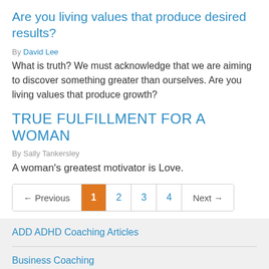Are you living values that produce desired results?
By David Lee
What is truth? We must acknowledge that we are aiming to discover something greater than ourselves. Are you living values that produce growth?
TRUE FULFILLMENT FOR A WOMAN
By Sally Tankersley
A woman's greatest motivator is Love.
← Previous  1  2  3  4  Next →
ADD ADHD Coaching Articles
Business Coaching
Career Coaching Articles